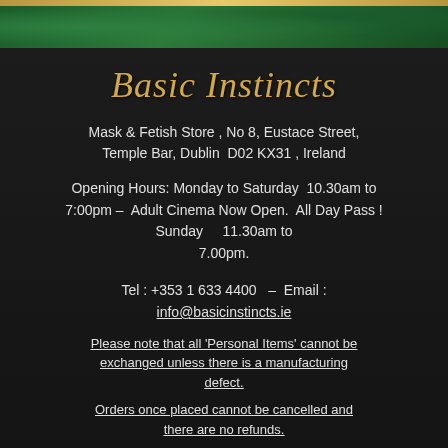Basic Instincts
Mask & Fetish Store , No 8, Eustace Street, Temple Bar, Dublin D02 KX31 , Ireland
Opening Hours: Monday to Saturday 10.30am to 7:00pm - Adult Cinema Now Open. All Day Pass ! Sunday 11.30am to 7.00pm.
Tel : +353 1 633 4400 - Email : info@basicinstincts.ie
Please note that all 'Personal Items' cannot be exchanged unless there is a manufacturing defect.
Orders once placed cannot be cancelled and there are no refunds.
Be sure to send your exact postal address for An Post 1st class delivery
Once items are posted it is your responsibility to look out for your Postman. The store will not be liable for loss or damage to items caused by delivery. That is An Post responsibility.
Discreet Postal Se... items purchased.